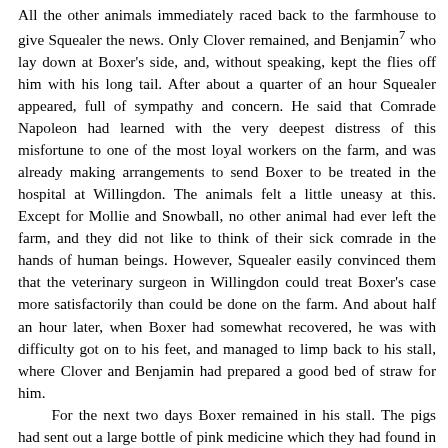All the other animals immediately raced back to the farmhouse to give Squealer the news. Only Clover remained, and Benjamin7 who lay down at Boxer's side, and, without speaking, kept the flies off him with his long tail. After about a quarter of an hour Squealer appeared, full of sympathy and concern. He said that Comrade Napoleon had learned with the very deepest distress of this misfortune to one of the most loyal workers on the farm, and was already making arrangements to send Boxer to be treated in the hospital at Willingdon. The animals felt a little uneasy at this. Except for Mollie and Snowball, no other animal had ever left the farm, and they did not like to think of their sick comrade in the hands of human beings. However, Squealer easily convinced them that the veterinary surgeon in Willingdon could treat Boxer's case more satisfactorily than could be done on the farm. And about half an hour later, when Boxer had somewhat recovered, he was with difficulty got on to his feet, and managed to limp back to his stall, where Clover and Benjamin had prepared a good bed of straw for him.
For the next two days Boxer remained in his stall. The pigs had sent out a large bottle of pink medicine which they had found in the medicine chest in the bathroom, and Clover administered it to Boxer twice a day after meals. In the evenings she lay in his stall and talked to him, while Benjamin kept the flies off him. Boxer professed not to be sorry for what had happened. If he made a good recovery, he might expect to live another three years, and he